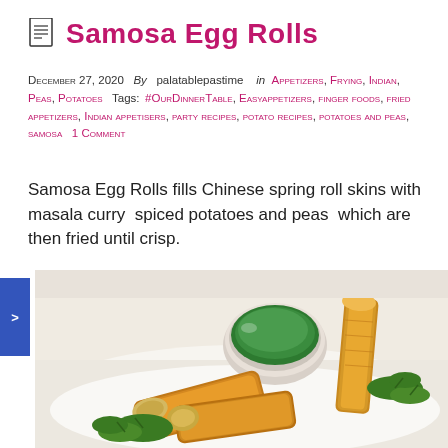Samosa Egg Rolls
December 27, 2020  By  palatablepastime   in Appetizers, Frying, Indian, Peas, Potatoes  Tags: #OurDinnerTable, Easyappetizers, finger foods, fried appetizers, Indian appetisers, party recipes, potato recipes, potatoes and peas, samosa  1 Comment
Samosa Egg Rolls fills Chinese spring roll skins with masala curry spiced potatoes and peas which are then fried until crisp.
[Figure (photo): Plate of golden fried samosa egg rolls with a small white bowl of green chutney, garnished with fresh parsley on a white plate]